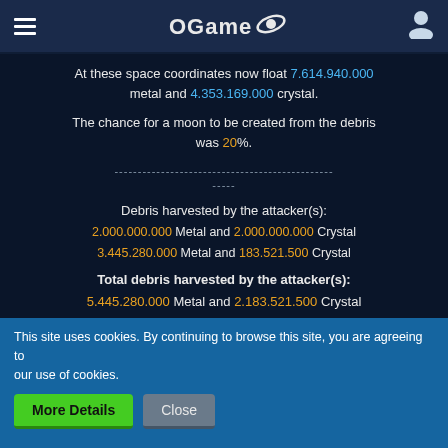OGame
At these space coordinates now float 7.614.940.000 metal and 4.353.169.000 crystal.
The chance for a moon to be created from the debris was 20%.
---------------------------------------------
-----
Debris harvested by the attacker(s): 2.000.000.000 Metal and 2.000.000.000 Crystal
3.445.280.000 Metal and 183.521.500 Crystal
Total debris harvested by the attacker(s): 5.445.280.000 Metal and 2.183.521.500 Crystal
This site uses cookies. By continuing to browse this site, you are agreeing to our use of cookies. More Details | Close